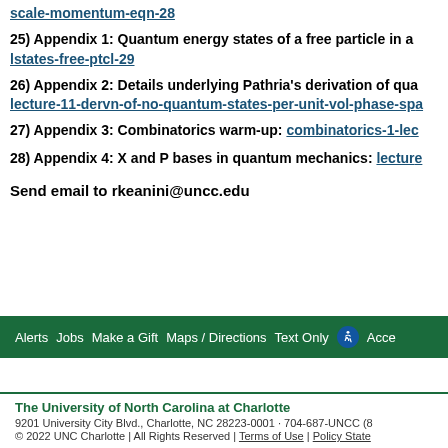scale-momentum-eqn-28
25) Appendix 1: Quantum energy states of a free particle in a   lstates-free-ptcl-29
26) Appendix 2: Details underlying Pathria's derivation of qua...   lecture-11-dervn-of-no-quantum-states-per-unit-vol-phase-sp...
27) Appendix 3: Combinatorics warm-up:   combinatorics-1-le...
28) Appendix 4: X and P bases in quantum mechanics:   lectur...
Send email to rkeanini@uncc.edu
Alerts   Jobs   Make a Gift   Maps / Directions   Text Only   Accessibility
The University of North Carolina at Charlotte
9201 University City Blvd., Charlotte, NC 28223-0001 · 704-687-UNCC
© 2022 UNC Charlotte | All Rights Reserved | Terms of Use | Policy State...